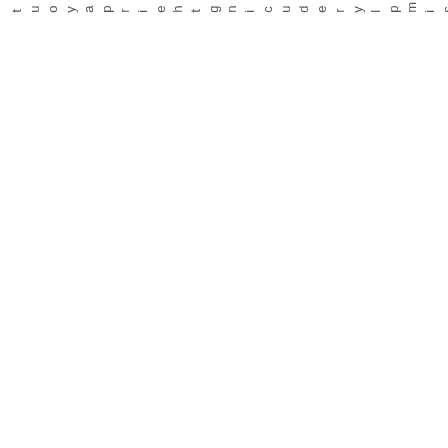s are simply reducing their payout